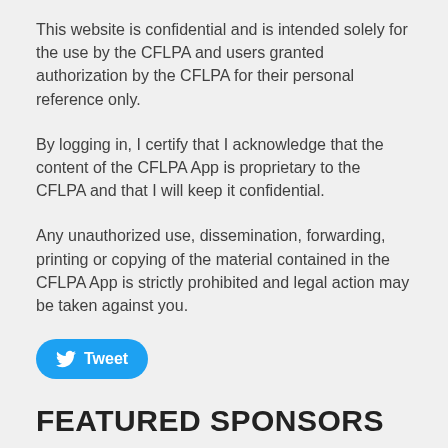This website is confidential and is intended solely for the use by the CFLPA and users granted authorization by the CFLPA for their personal reference only.
By logging in, I certify that I acknowledge that the content of the CFLPA App is proprietary to the CFLPA and that I will keep it confidential.
Any unauthorized use, dissemination, forwarding, printing or copying of the material contained in the CFLPA App is strictly prohibited and legal action may be taken against you.
[Figure (other): Twitter Tweet button (blue rounded button with Twitter bird icon and 'Tweet' label)]
FEATURED SPONSORS